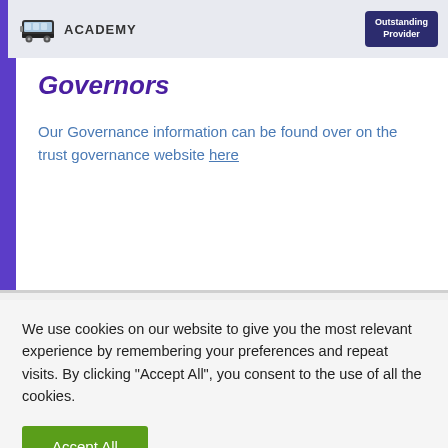[Figure (logo): Bus icon with ACADEMY text and Outstanding Provider badge in top header bar]
Governors
Our Governance information can be found over on the trust governance website here
We use cookies on our website to give you the most relevant experience by remembering your preferences and repeat visits. By clicking “Accept All”, you consent to the use of all the cookies.
Accept All